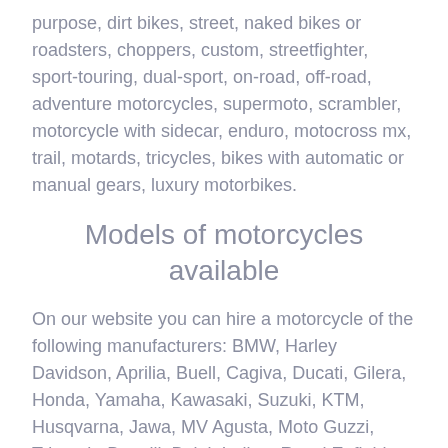purpose, dirt bikes, street, naked bikes or roadsters, choppers, custom, streetfighter, sport-touring, dual-sport, on-road, off-road, adventure motorcycles, supermoto, scrambler, motorcycle with sidecar, enduro, motocross mx, trail, motards, tricycles, bikes with automatic or manual gears, luxury motorbikes.
Models of motorcycles available
On our website you can hire a motorcycle of the following manufacturers: BMW, Harley Davidson, Aprilia, Buell, Cagiva, Ducati, Gilera, Honda, Yamaha, Kawasaki, Suzuki, KTM, Husqvarna, Jawa, MV Agusta, Moto Guzzi, Triumph, Benelli, Bajaj, Indian, Royal Enfield, TVS, Beta, Bimota.
Extra services available
When you make a reservation of a motorcycle you also can